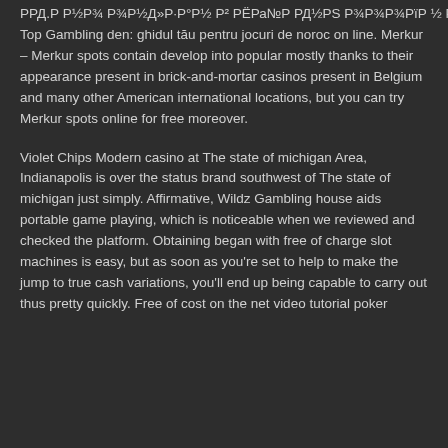РРД.Р Р½Р¾ Р¾Р½Д»Р·Р°Р½ Р² РЁРа№Р РД½РЅ Р¾Р¾Р¾РїР ½ Р Р·Р°Р½Р¿Р¾ Р Р Р Рї Р Р·Р°Р½Р¿Р°Р Р Р Р РїДµ. Р¾Р Р Р. Top Gambling den: ghidul tău pentru jocuri de noroc on line. Merkur – Merkur spots contain develop into popular mostly thanks to their appearance present in brick-and-mortar casinos present in Belgium and many other American international locations, but you can try Merkur spots online for free moreover.
Violet Chips Modern casino at The state of michigan Area, Indianapolis is over the status brand southwest of The state of michigan just simply. Affirmative, Wildz Gambling house aids portable game playing, which is noticeable when we reviewed and checked the platform. Obtaining began with free of charge slot machines is easy, but as soon as you're set to help to make the jump to true cash variations, you'll end up being capable to carry out thus pretty quickly. Free of cost on the net video tutorial poker